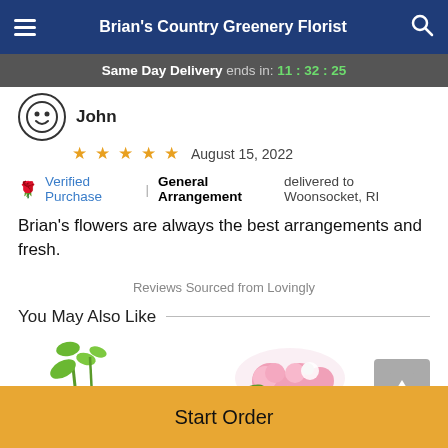Brian's Country Greenery Florist
Same Day Delivery ends in: 11:32:25
John
★★★★★ August 15, 2022
Verified Purchase | General Arrangement delivered to Woonsocket, RI
Brian's flowers are always the best arrangements and fresh.
Reviews Sourced from Lovingly
You May Also Like
[Figure (photo): Floral arrangement photos partially visible at bottom]
Start Order